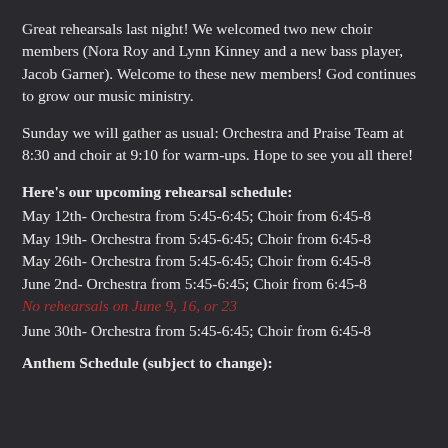Great rehearsals last night! We welcomed two new choir members (Nora Roy and Lynn Kinney and a new bass player, Jacob Garner). Welcome to these new members! God continues to grow our music ministry.
Sunday we will gather as usual: Orchestra and Praise Team at 8:30 and choir at 9:10 for warm-ups. Hope to see you all there!
Here's our upcoming rehearsal schedule:
May 12th- Orchestra from 5:45-6:45; Choir from 6:45-8
May 19th- Orchestra from 5:45-6:45; Choir from 6:45-8
May 26th- Orchestra from 5:45-6:45; Choir from 6:45-8
June 2nd- Orchestra from 5:45-6:45; Choir from 6:45-8
No rehearsals on June 9, 16, or 23
June 30th- Orchestra from 5:45-6:45; Choir from 6:45-8
Anthem Schedule (subject to change):